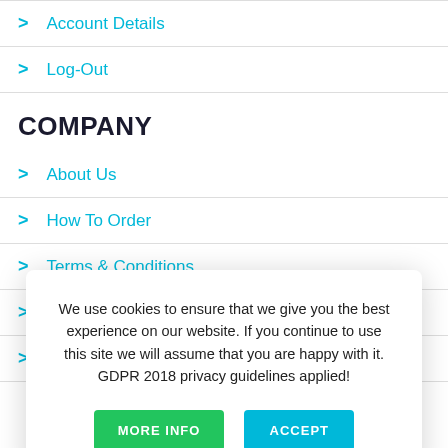> Account Details
> Log-Out
COMPANY
> About Us
> How To Order
> Terms & Conditions
> P...
> P...
We use cookies to ensure that we give you the best experience on our website. If you continue to use this site we will assume that you are happy with it. GDPR 2018 privacy guidelines applied!
MORE INFO | ACCEPT